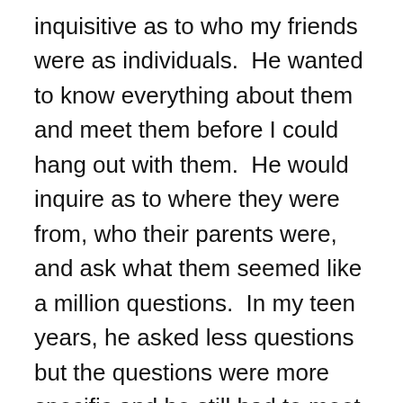inquisitive as to who my friends were as individuals.  He wanted to know everything about them and meet them before I could hang out with them.  He would inquire as to where they were from, who their parents were, and ask what them seemed like a million questions.  In my teen years, he asked less questions but the questions were more specific and he still had to meet them.  Partially because he loved me and wanted to be a part of my life and the other is because he understood what kind of influence our friends can have over us especially in early stages of developing our character and morals.  At the time it was a